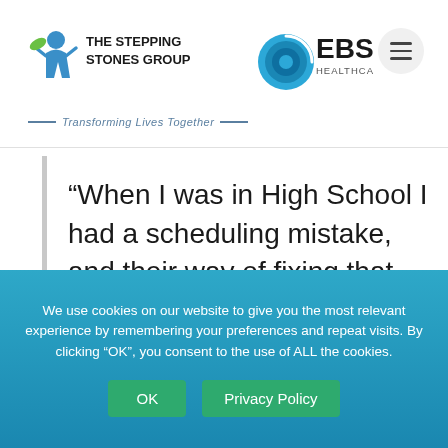The Stepping Stones Group | EBS Healthcare — Transforming Lives Together
“When I was in High School I had a scheduling mistake, and their way of fixing that mistake was to add me as a volunteer in the Life Skills class for a semester. I was able to see the Occupational Therapist work with these students. I was going to be a dentist and decided to apply to OT school. And here I am today!”
We use cookies on our website to give you the most relevant experience by remembering your preferences and repeat visits. By clicking “OK”, you consent to the use of ALL the cookies.